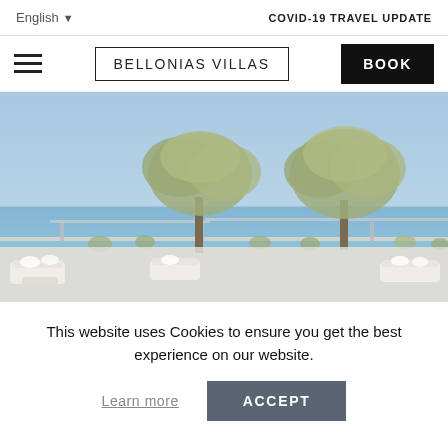English  COVID-19 TRAVEL UPDATE
≡  BELLONIAS VILLAS  BOOK
[Figure (photo): Outdoor terrace with olive trees against a blue sky and sea view, with white lounge furniture below]
This website uses Cookies to ensure you get the best experience on our website.
Learn more  ACCEPT